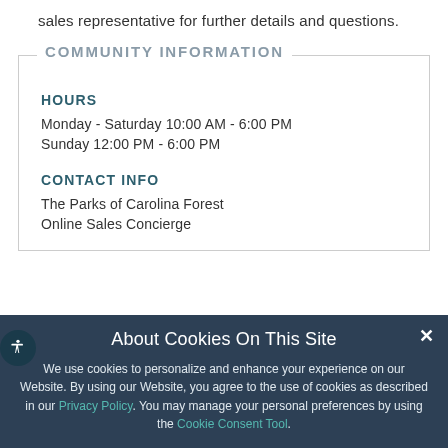sales representative for further details and questions.
COMMUNITY INFORMATION
HOURS
Monday - Saturday 10:00 AM - 6:00 PM
Sunday 12:00 PM - 6:00 PM
CONTACT INFO
The Parks of Carolina Forest
Online Sales Concierge
About Cookies On This Site
We use cookies to personalize and enhance your experience on our Website. By using our Website, you agree to the use of cookies as described in our Privacy Policy. You may manage your personal preferences by using the Cookie Consent Tool.